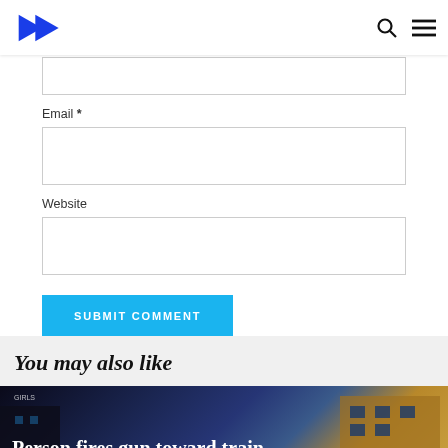Email *
Website
SUBMIT COMMENT
You may also like
[Figure (photo): Dark nighttime street scene with building, article thumbnail]
Person fires gun toward train